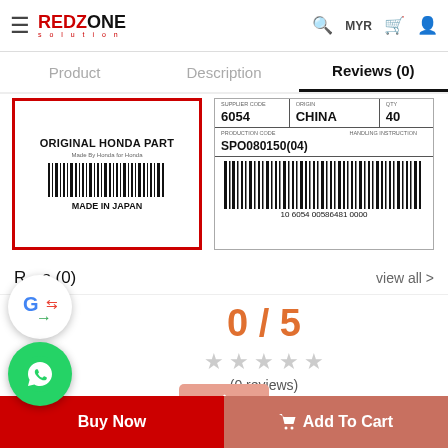RedZone Solution — MYR
Reviews (0)
[Figure (photo): Original Honda Part label with barcode and MADE IN JAPAN text, bordered in red]
[Figure (photo): Honda part barcode label showing 6054, CHINA, 40, SPO080150(04), barcode 10 6054 00586481 0000]
Reviews (0)
view all >
0 / 5
(0 reviews)
Buy Now
Add To Cart